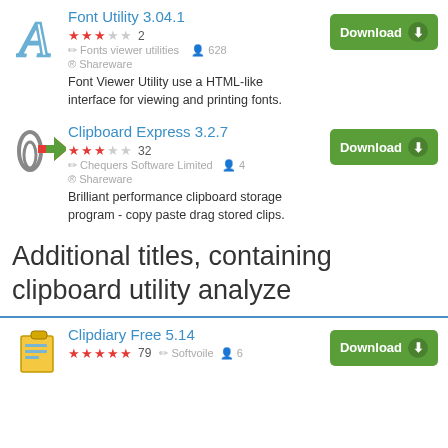Font Utility 3.04.1
★★★☆☆ 2 | Fonts viewer utilities | 628 | Shareware
Font Viewer Utility use a HTML-like interface for viewing and printing fonts.
Clipboard Express 3.2.7
★★★☆☆ 32 | Chequers Software Limited | 4 | Shareware
Brilliant performance clipboard storage program - copy paste drag stored clips.
Additional titles, containing clipboard utility analyze
Clipdiary Free 5.14
★★★★★ 79 | Softvoile | 6